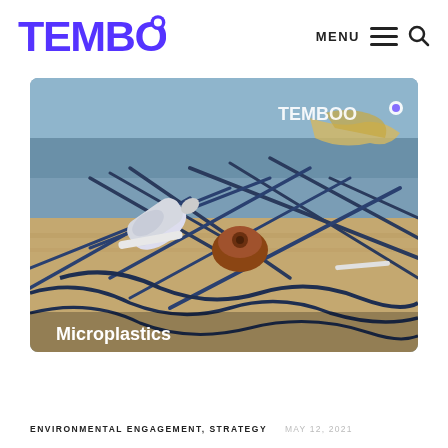TEMBOO — MENU
[Figure (photo): Plastic waste including bottles, a rusted cap, a straw, and fishing net tangled on sandy beach. 'Microplastics' text overlay at bottom left. Temboo watermark at top right.]
ENVIRONMENTAL ENGAGEMENT, STRATEGY   MAY 12, 2021